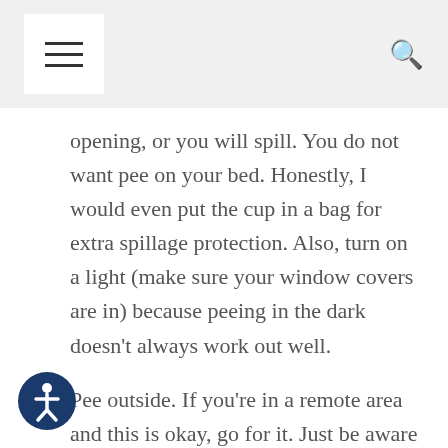[menu icon] [search icon]
opening, or you will spill. You do not want pee on your bed. Honestly, I would even put the cup in a bag for extra spillage protection. Also, turn on a light (make sure your window covers are in) because peeing in the dark doesn't always work out well.
Pee outside. If you're in a remote area and this is okay, go for it. Just be aware of your surroundings as this is a very vulnerable situation to be in alone. If you are in a campground or RV park, walk to a bathroom or use a cup. Peeing outside is definitely not